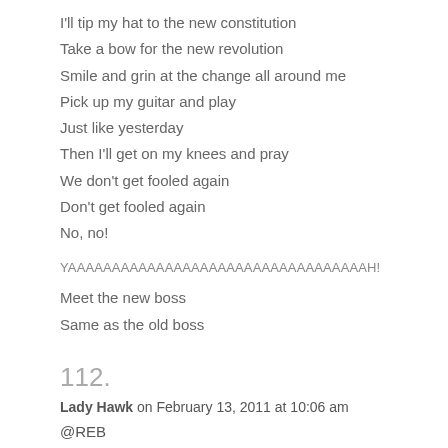I'll tip my hat to the new constitution
Take a bow for the new revolution
Smile and grin at the change all around me
Pick up my guitar and play
Just like yesterday
Then I'll get on my knees and pray
We don't get fooled again
Don't get fooled again
No, no!
YAAAAAAAAAAAAAAAAAAAAAAAAAAAAAAAAAAH!
Meet the new boss
Same as the old boss
112.
Lady Hawk on February 13, 2011 at 10:06 am
@REB